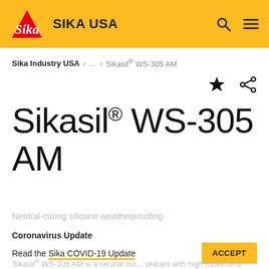SIKA USA
Sika Industry USA > ... > Sikasil® WS-305 AM
Sikasil® WS-305 AM
Neutral-curing silicone weatherproofing sealant
Coronavirus Update
Read the Sika COVID-19 Update
Sikasil® WS-305 AM is a neutral curing sealant with high movement capability and excellent...